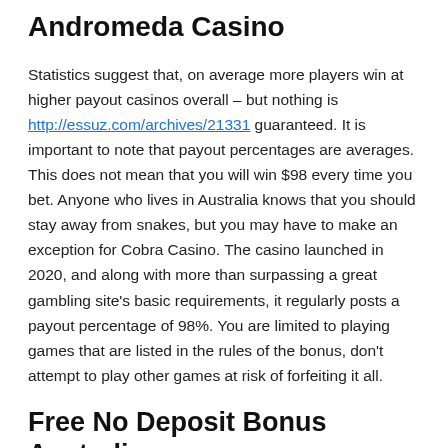Andromeda Casino
Statistics suggest that, on average more players win at higher payout casinos overall – but nothing is http://essuz.com/archives/21331 guaranteed. It is important to note that payout percentages are averages. This does not mean that you will win $98 every time you bet. Anyone who lives in Australia knows that you should stay away from snakes, but you may have to make an exception for Cobra Casino. The casino launched in 2020, and along with more than surpassing a great gambling site's basic requirements, it regularly posts a payout percentage of 98%. You are limited to playing games that are listed in the rules of the bonus, don't attempt to play other games at risk of forfeiting it all.
Free No Deposit Bonus Australia